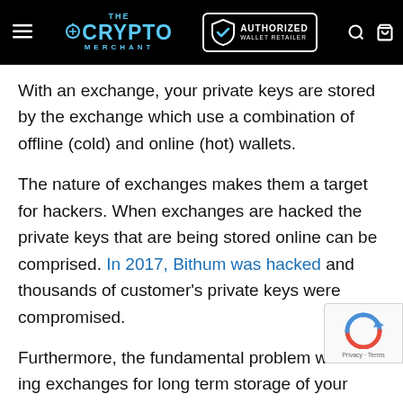THE CRYPTO MERCHANT — AUTHORIZED WALLET RETAILER
With an exchange, your private keys are stored by the exchange which use a combination of offline (cold) and online (hot) wallets.
The nature of exchanges makes them a target for hackers. When exchanges are hacked the private keys that are being stored online can be comprised. In 2017, Bithum was hacked and thousands of customer's private keys were compromised.
Furthermore, the fundamental problem with using exchanges for long term storage of your